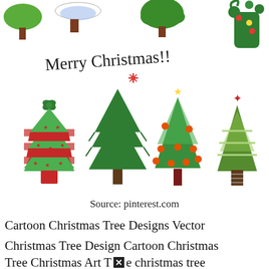[Figure (illustration): A collection of cartoon Christmas tree clip art illustrations with the text 'Merry Christmas!!' handwritten in the center-top area. The top row shows four different stylized tree tops (green trees with various designs). The bottom section shows four full Christmas trees: one gift-wrapped with red and green stripes and stars, one dark outline tree, one decorated with orange ornaments on a red trunk, and one flat geometric green tree with a red star topper and striped trunk. The text 'Merry Christmas!!' appears in a handwritten/cursive style in dark color.]
Source: pinterest.com
Cartoon Christmas Tree Designs Vector
Christmas Tree Design Cartoon Christmas
Tree Christmas Art The christmas tree